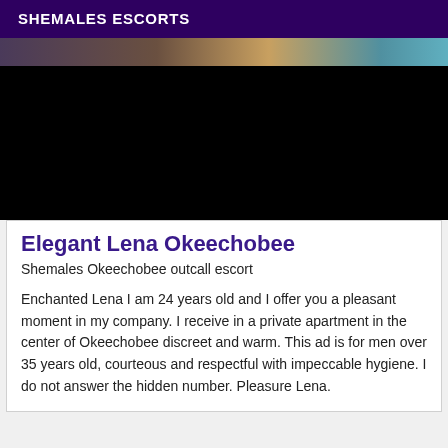SHEMALES ESCORTS
[Figure (photo): A partially censored/blacked-out photo with a dark purple and warm gradient strip visible at the top]
Elegant Lena Okeechobee
Shemales Okeechobee outcall escort
Enchanted Lena I am 24 years old and I offer you a pleasant moment in my company. I receive in a private apartment in the center of Okeechobee discreet and warm. This ad is for men over 35 years old, courteous and respectful with impeccable hygiene. I do not answer the hidden number. Pleasure Lena.